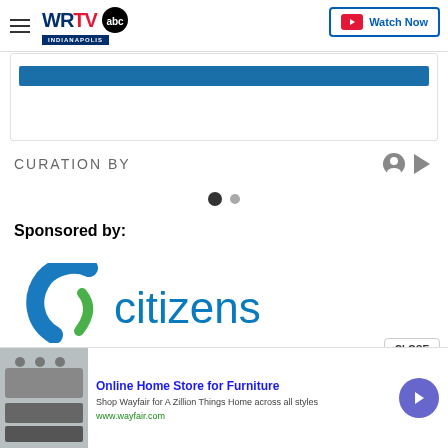WRTV INDIANAPOLIS | Watch Now
[Figure (screenshot): Blue banner/strip in a white card area]
CURATION BY
[Figure (other): Pagination dots: one filled black dot and one smaller gray dot]
Sponsored by:
[Figure (logo): Citizens bank logo - teal arc/swoosh icon with 'citizens' text in teal]
[Figure (screenshot): CLOSE button with X circle below it]
[Figure (screenshot): Bottom advertisement banner: Online Home Store for Furniture - Wayfair ad with furniture image, text and arrow button]